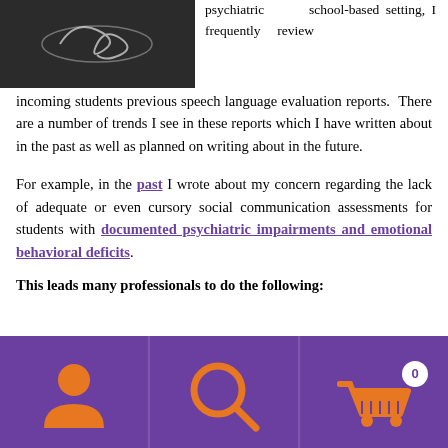[Figure (photo): Dark chalkboard with a decorative infinity-like swirl design in chalk]
psychiatric school-based setting, I frequently review incoming students previous speech language evaluation reports. There are a number of trends I see in these reports which I have written about in the past as well as planned on writing about in the future.
For example, in the past I wrote about my concern regarding the lack of adequate or even cursory social communication assessments for students with documented psychiatric impairments and emotional behavioral deficits.
This leads many professionals to do the following:
[Figure (infographic): Purple footer navigation bar with three icons: person/user icon, search/magnifying glass icon, and shopping cart icon with badge showing 0]